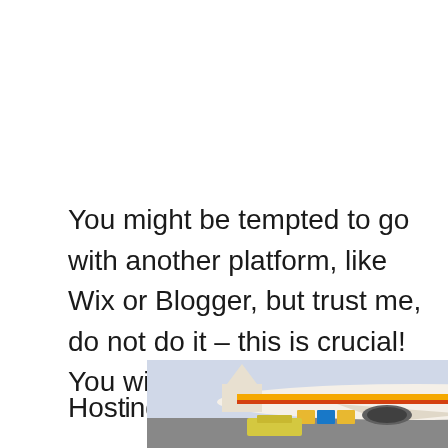You might be tempted to go with another platform, like Wix or Blogger, but trust me, do not do it – this is crucial! You will only regret it later.
Hosting
[Figure (photo): Advertisement banner showing a cargo airplane being loaded with freight on a tarmac. On the right side is a dark overlay panel with white text reading 'WITHOUT REGARD TO POLITICS, RELIGION, OR ABILITY TO PAY'.]